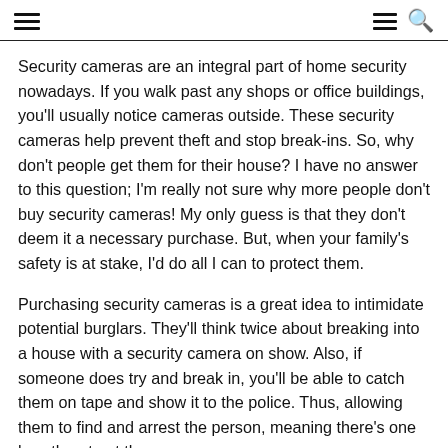[navigation icons: hamburger menu left, hamburger menu and search right]
Security cameras are an integral part of home security nowadays. If you walk past any shops or office buildings, you'll usually notice cameras outside. These security cameras help prevent theft and stop break-ins. So, why don't people get them for their house? I have no answer to this question; I'm really not sure why more people don't buy security cameras! My only guess is that they don't deem it a necessary purchase. But, when your family's safety is at stake, I'd do all I can to protect them.
Purchasing security cameras is a great idea to intimidate potential burglars. They'll think twice about breaking into a house with a security camera on show. Also, if someone does try and break in, you'll be able to catch them on tape and show it to the police. Thus, allowing them to find and arrest the person, meaning there's one less threat out there.